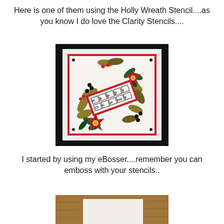Here is one of them using the Holly Wreath Stencil....as you know I do love the Clarity Stencils....
[Figure (photo): A handmade Christmas card featuring a holly wreath stencil design with red poinsettia flowers, green holly leaves, and a 'Happy Christmas' sentiment label in the center, displayed on a white mat with red border, framed in black.]
I started by using my eBosser....remember you can emboss with your stencils..
[Figure (photo): A photo showing a white piece of paper or card stock on a wooden surface, partially visible at the bottom of the page, likely demonstrating the embossing process with the eBosser machine.]